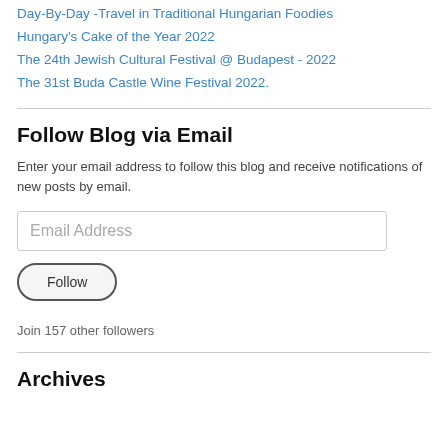Day-By-Day -Travel in Traditional Hungarian Foodies
Hungary's Cake of the Year 2022
The 24th Jewish Cultural Festival @ Budapest - 2022
The 31st Buda Castle Wine Festival 2022.
Follow Blog via Email
Enter your email address to follow this blog and receive notifications of new posts by email.
Join 157 other followers
Archives